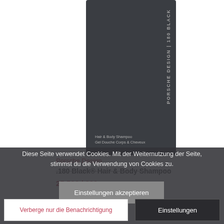[Figure (photo): Dark grey/charcoal Porsche Design 180 Black Hair & Body Shampoo bottle product photo, shown against white background. Bottle has vertical text reading PORSCHE DESIGN | 180 BLACK and product description text at bottom.]
Porsche Design
.180 Black® Hair & Body Shampoo
25,50€ / 200
Diese Seite verwendet Cookies. Mit der Weiternutzung der Seite, stimmst du die Verwendung von Cookies zu.
Einstellungen akzeptieren
Verberge nur die Benachrichtigung
Einstellungen